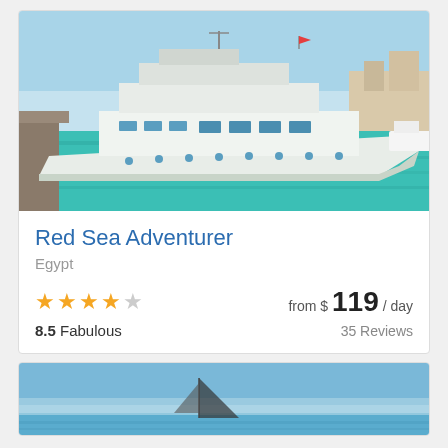[Figure (photo): Large white luxury yacht moored at dock on turquoise water, clear blue sky in background]
Red Sea Adventurer
Egypt
★★★★☆  from $ 119 / day
8.5 Fabulous  35 Reviews
[Figure (photo): Partial view of a boat on blue water, second listing card cropped at bottom]